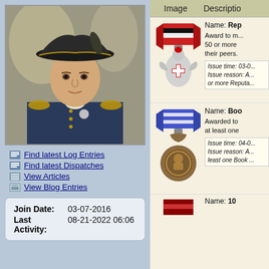[Figure (illustration): Portrait illustration of a naval officer in 18th century uniform with bicorn hat]
Find latest Log Entries
Find latest Dispatches
View Articles
View Blog Entries
| Join Date: | 03-07-2016 |
| Last Activity: | 08-21-2022 06:06 |
| Image | Description |
| --- | --- |
| [medal image] | Name: Rep... Award to m... 50 or more their peers. Issue time: 03-0... Issue reason: A... or more Reputa... |
| [medal image] | Name: Boo... Awarded to at least one Issue time: 04-0... Issue reason: A... least one Book ... |
| [medal image] | Name: 10... |